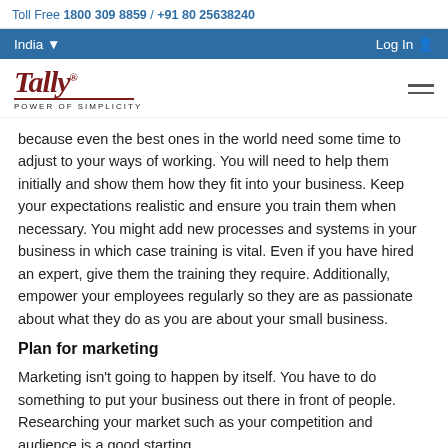Toll Free 1800 309 8859 / +91 80 25638240
India  Log In
[Figure (logo): Tally logo with cursive text and tagline POWER OF SIMPLICITY]
because even the best ones in the world need some time to adjust to your ways of working. You will need to help them initially and show them how they fit into your business. Keep your expectations realistic and ensure you train them when necessary. You might add new processes and systems in your business in which case training is vital. Even if you have hired an expert, give them the training they require. Additionally, empower your employees regularly so they are as passionate about what they do as you are about your small business.
Plan for marketing
Marketing isn't going to happen by itself. You have to do something to put your business out there in front of people. Researching your market such as your competition and audience is a good starting